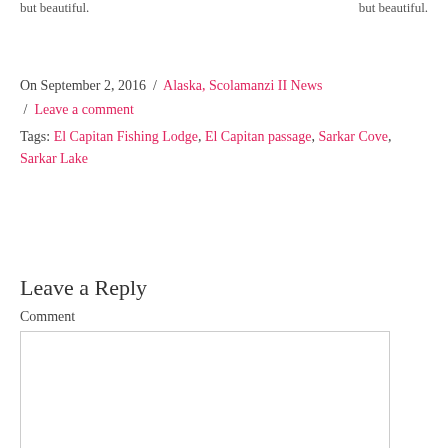but beautiful. / but beautiful.
On September 2, 2016  /  Alaska, Scolamanzi II News  /  Leave a comment
Tags: El Capitan Fishing Lodge, El Capitan passage, Sarkar Cove, Sarkar Lake
Leave a Reply
Comment